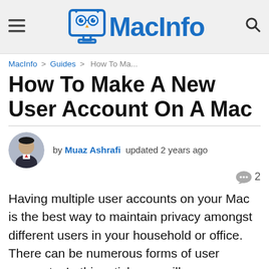MacInfo
MacInfo > Guides > How To Ma...
How To Make A New User Account On A Mac
by Muaz Ashrafi updated 2 years ago
2
Having multiple user accounts on your Mac is the best way to maintain privacy amongst different users in your household or office. There can be numerous forms of user accounts. In this article, we will